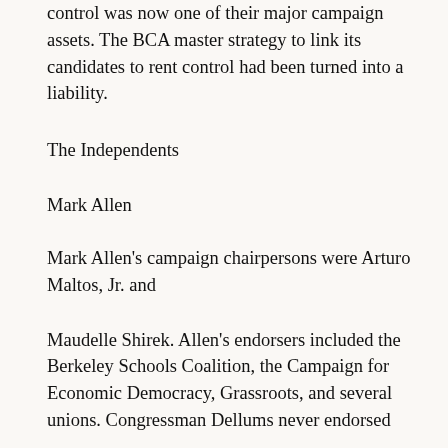control was now one of their major campaign assets. The BCA master strategy to link its candidates to rent control had been turned into a liability.
The Independents
Mark Allen
Mark Allen's campaign chairpersons were Arturo Maltos, Jr. and
Maudelle Shirek. Allen's endorsers included the Berkeley Schools Coalition, the Campaign for Economic Democracy, Grassroots, and several unions. Congressman Dellums never endorsed